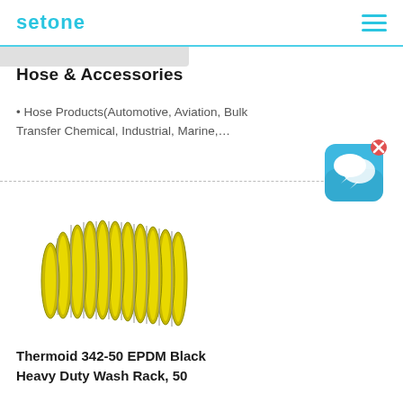setone
Hose & Accessories
• Hose Products(Automotive, Aviation, Bulk Transfer Chemical, Industrial, Marine,…
[Figure (screenshot): Chat bubble / messaging icon with blue rounded-square background and white speech bubble icons, with an X close button in top-right corner]
[Figure (photo): Yellow and gray spiral reinforced industrial hose (Thermoid 342-50 EPDM Heavy Duty Wash Rack hose) coiled horizontally on white background]
Thermoid 342-50 EPDM Black Heavy Duty Wash Rack, 50